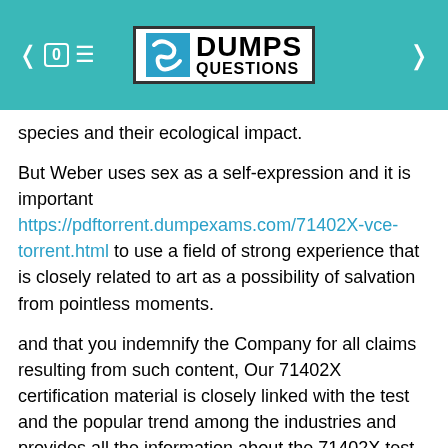DUMPS QUESTIONS
species and their ecological impact.
But Weber uses sex as a self-expression and it is important https://pdftorrent.dumpexams.com/71402X-vce-torrent.html to use a field of strong experience that is closely related to art as a possibility of salvation from pointless moments.
and that you indemnify the Company for all claims resulting from such content, Our 71402X certification material is closely linked with the test and the popular trend among the industries and provides all the information about the 71402X test.
Anyway, you can practice the key knowledge repeatedly with our 71402X test prep, and at the same time, you can consolidate your weaknesses more specifically.